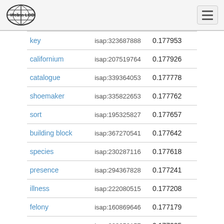WebIsaLOD
| key | isap:323687888 | 0.177953 |
| californium | isap:207519764 | 0.177926 |
| catalogue | isap:339364053 | 0.177778 |
| shoemaker | isap:335822653 | 0.177762 |
| sort | isap:195325827 | 0.177657 |
| building block | isap:367270541 | 0.177642 |
| species | isap:230287116 | 0.177618 |
| presence | isap:294367828 | 0.177241 |
| illness | isap:222080515 | 0.177208 |
| felony | isap:160869646 | 0.177179 |
| arm | isap:323650157 | 0.177005 |